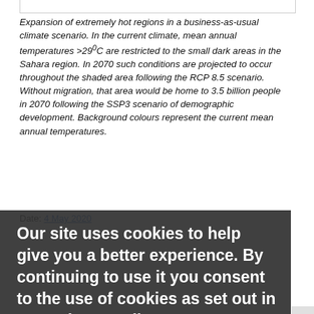Expansion of extremely hot regions in a business-as-usual climate scenario. In the current climate, mean annual temperatures >29⁰C are restricted to the small dark areas in the Sahara region. In 2070 such conditions are projected to occur throughout the shaded area following the RCP 8.5 scenario. Without migration, that area would be home to 3.5 billion people in 2070 following the SSP3 scenario of demographic development. Background colours represent the current mean annual temperatures.
Date: 4 May 2020
Our site uses cookies to help give you a better experience. By continuing to use it you consent to the use of cookies as set out in our privacy policy
Using our site | Accessibility | Freedom of Information | Data Protection | Copyright & disclaimer | Privacy & cookies
Close
Copyright University of Exeter. All rights reserved.